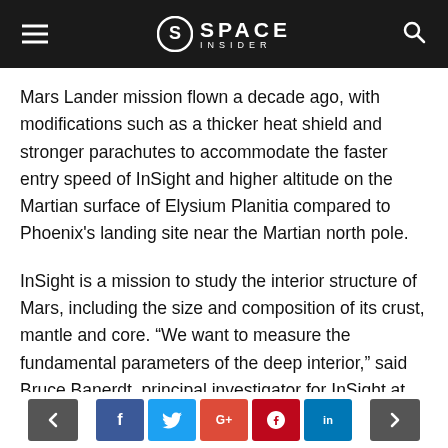SPACE INSIDER
Mars Lander mission flown a decade ago, with modifications such as a thicker heat shield and stronger parachutes to accommodate the faster entry speed of InSight and higher altitude on the Martian surface of Elysium Planitia compared to Phoenix’s landing site near the Martian north pole.
InSight is a mission to study the interior structure of Mars, including the size and composition of its crust, mantle and core. “We want to measure the fundamental parameters of the deep interior,” said Bruce Banerdt, principal investigator for InSight at the Jet Propulsion Laboratory, at a May 3 briefing.
Banerdt said the information they gain about the interior of Mars can be used to better understand
< f t G+ p in >